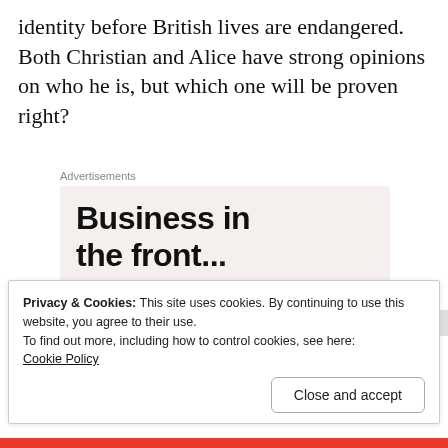identity before British lives are endangered. Both Christian and Alice have strong opinions on who he is, but which one will be proven right?
[Figure (other): Advertisement banner: top section with light beige background showing text 'Business in the front...' in bold sans-serif; bottom section with orange/pink gradient background showing text 'WordPress in the back.' in bold sans-serif]
Privacy & Cookies: This site uses cookies. By continuing to use this website, you agree to their use.
To find out more, including how to control cookies, see here:
Cookie Policy
Close and accept